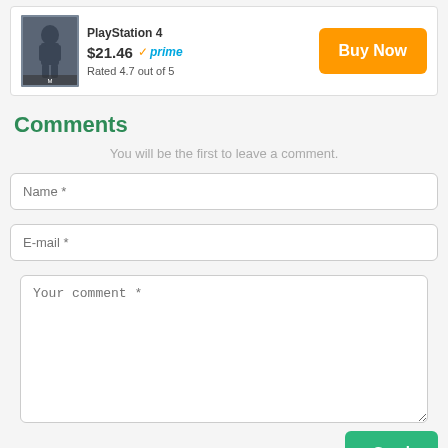[Figure (screenshot): Product listing card showing a PlayStation 4 game (Tomb Raider) with cover image, price $21.46, Amazon Prime badge, rating 4.7 out of 5, and an orange Buy Now button]
Comments
You will be the first to leave a comment.
Name *
E-mail *
Your comment *
Send